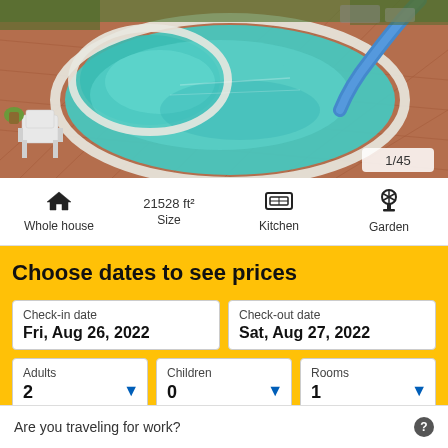[Figure (photo): Aerial view of a kidney-shaped swimming pool with turquoise water on a terracotta tile patio, with a white plastic chair on the left and a blue water slide on the upper right. Image counter shows 1/45.]
Whole house
21528 ft² Size
Kitchen
Garden
Choose dates to see prices
| Check-in date | Check-out date |
| --- | --- |
| Fri, Aug 26, 2022 | Sat, Aug 27, 2022 |
| Adults | Children | Rooms |
| --- | --- | --- |
| 2 | 0 | 1 |
Are you traveling for work?